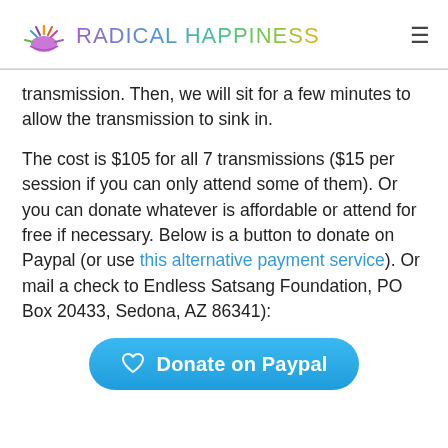RADICAL HAPPINESS
transmission. Then, we will sit for a few minutes to allow the transmission to sink in.
The cost is $105 for all 7 transmissions ($15 per session if you can only attend some of them). Or you can donate whatever is affordable or attend for free if necessary. Below is a button to donate on Paypal (or use this alternative payment service). Or mail a check to Endless Satsang Foundation, PO Box 20433, Sedona, AZ 86341):
[Figure (infographic): Blue rounded rectangle button labeled 'Donate on Paypal' with a heart icon]